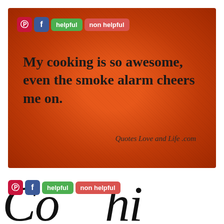[Figure (illustration): Orange-red textured background with bold black quote text reading 'My cooking is so awesome, even the smoke alarm cheers me on.' and attribution 'Quotes Love and Life .com'. Social sharing buttons (Pinterest, Facebook, helpful, non helpful) overlaid in top-left corner.]
My cooking is so awesome, even the smoke alarm cheers me on.
Quotes Love and Life .com
[Figure (illustration): Bottom section showing social sharing buttons (Pinterest, Facebook, helpful, non helpful) and large cursive/script text cropped from the next image below.]